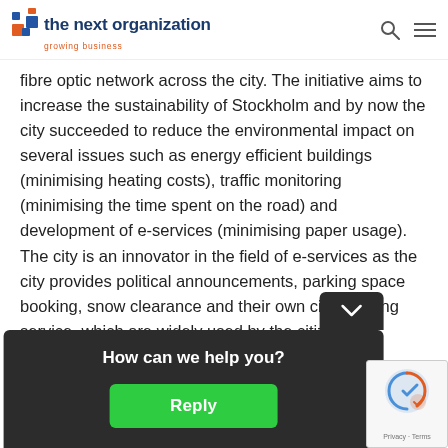the next organization — growing business
fibre optic network across the city. The initiative aims to increase the sustainability of Stockholm and by now the city succeeded to reduce the environmental impact on several issues such as energy efficient buildings (minimising heating costs), traffic monitoring (minimising the time spent on the road) and development of e-services (minimising paper usage). The city is an innovator in the field of e-services as the city provides political announcements, parking space booking, snow clearance and their own city routeing service, which are widely used by the citizens of Stockholm.
P...
In... st...
[Figure (screenshot): Chat popup overlay with dark background saying 'How can we help you?' and a green Reply button]
[Figure (screenshot): reCAPTCHA badge with Privacy and Terms text]